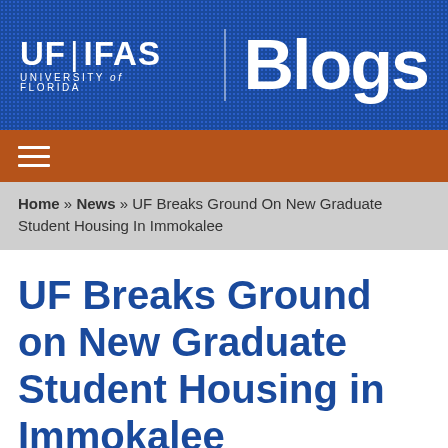UF | IFAS UNIVERSITY of FLORIDA  Blogs
≡
Home » News » UF Breaks Ground On New Graduate Student Housing In Immokalee
UF Breaks Ground on New Graduate Student Housing in Immokalee
[Figure (illustration): Social sharing icons: email, Facebook, Twitter, Reddit — orange circular buttons]